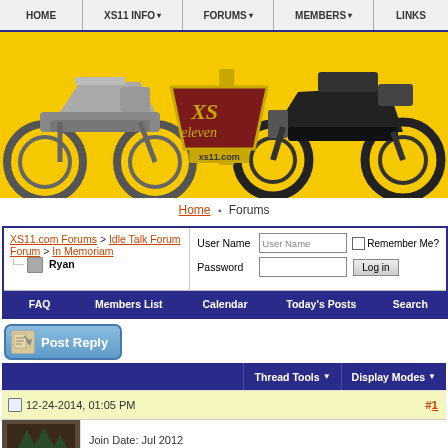HOME | XS11 INFO | FORUMS | MEMBERS | LINKS
[Figure (photo): xs11.com website banner with yellow background, motorcycles, and XS Eleven logo]
Home > Forums
| XS11.com Forums > Idle Talk Forum > In Memoriam > Ryan | User Name [field] Remember Me? Password [field] Log in |
FAQ | Members List | Calendar | Today's Posts | Search
Post Reply
Thread Tools ▼    Display Modes ▼
12-24-2014, 01:05 PM   #1
Join Date: Jul 2012